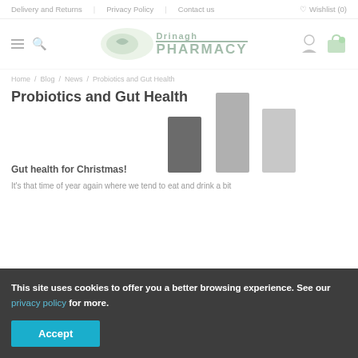Delivery and Returns  |  Privacy Policy  |  Contact us  |  Wishlist (0)
[Figure (logo): Drinagh Pharmacy logo with oval graphic and teal text]
Home / Blog / News / Probiotics and Gut Health
Probiotics and Gut Health
Gut health for Christmas!
It's that time of year again where we tend to eat and drink a bit...
This site uses cookies to offer you a better browsing experience. See our privacy policy for more.